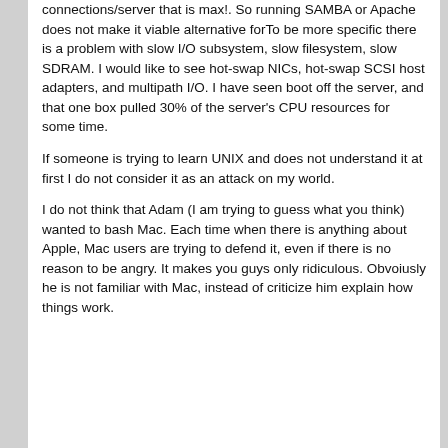connections/server that is max!. So running SAMBA or Apache does not make it viable alternative forTo be more specific there is a problem with slow I/O subsystem, slow filesystem, slow SDRAM. I would like to see hot-swap NICs, hot-swap SCSI host adapters, and multipath I/O. I have seen boot off the server, and that one box pulled 30% of the server's CPU resources for some time.
If someone is trying to learn UNIX and does not understand it at first I do not consider it as an attack on my world.
I do not think that Adam (I am trying to guess what you think) wanted to bash Mac. Each time when there is anything about Apple, Mac users are trying to defend it, even if there is no reason to be angry. It makes you guys only ridiculous. Obvoiusly he is not familiar with Mac, instead of criticize him explain how things work.